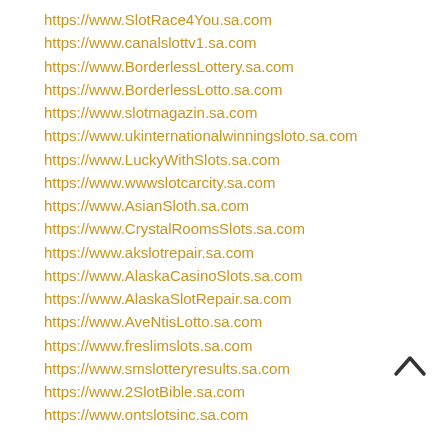https://www.SlotRace4You.sa.com
https://www.canalslottv1.sa.com
https://www.BorderlessLottery.sa.com
https://www.BorderlessLotto.sa.com
https://www.slotmagazin.sa.com
https://www.ukinternationalwinningsloto.sa.com
https://www.LuckyWithSlots.sa.com
https://www.wwwslotcarcity.sa.com
https://www.AsianSloth.sa.com
https://www.CrystalRoomsSlots.sa.com
https://www.akslotrepair.sa.com
https://www.AlaskaCasinoSlots.sa.com
https://www.AlaskaSlotRepair.sa.com
https://www.AveNtisLotto.sa.com
https://www.freslimslots.sa.com
https://www.smslotteryresults.sa.com
https://www.2SlotBible.sa.com
https://www.ontslotsinc.sa.com